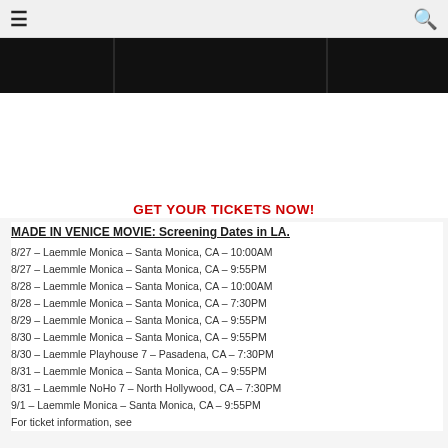☰  🔍
[Figure (photo): Dark banner/header image divided into three sections by vertical separators]
GET YOUR TICKETS NOW!
MADE IN VENICE MOVIE: Screening Dates in LA.
8/27 – Laemmle Monica – Santa Monica, CA – 10:00AM
8/27 – Laemmle Monica – Santa Monica, CA – 9:55PM
8/28 – Laemmle Monica – Santa Monica, CA – 10:00AM
8/28 – Laemmle Monica – Santa Monica, CA – 7:30PM
8/29 – Laemmle Monica – Santa Monica, CA – 9:55PM
8/30 – Laemmle Monica – Santa Monica, CA – 9:55PM
8/30 – Laemmle Playhouse 7 – Pasadena, CA – 7:30PM
8/31 – Laemmle Monica – Santa Monica, CA – 9:55PM
8/31 – Laemmle NoHo 7 – North Hollywood, CA – 7:30PM
9/1 – Laemmle Monica – Santa Monica, CA – 9:55PM
For ticket information, see...